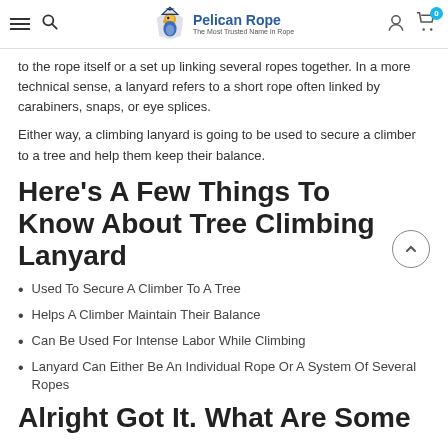Pelican Rope - The Most Trusted Name in Rope
to the rope itself or a set up linking several ropes together. In a more technical sense, a lanyard refers to a short rope often linked by carabiners, snaps, or eye splices.
Either way, a climbing lanyard is going to be used to secure a climber to a tree and help them keep their balance.
Here's A Few Things To Know About Tree Climbing Lanyard
Used To Secure A Climber To A Tree
Helps A Climber Maintain Their Balance
Can Be Used For Intense Labor While Climbing
Lanyard Can Either Be An Individual Rope Or A System Of Several Ropes
Alright Got It. What Are Some